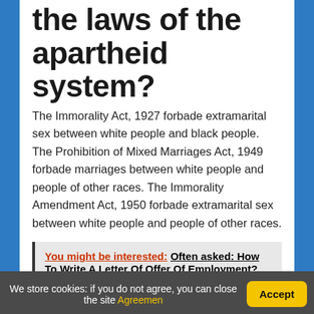What were some of the laws of the apartheid system?
The Immorality Act, 1927 forbade extramarital sex between white people and black people. The Prohibition of Mixed Marriages Act, 1949 forbade marriages between white people and people of other races. The Immorality Amendment Act, 1950 forbade extramarital sex between white people and people of other races.
You might be interested: Often asked: How To Write A Letter Of Offer Of Employment?
We store cookies: if you do not agree, you can close the site Agreemen